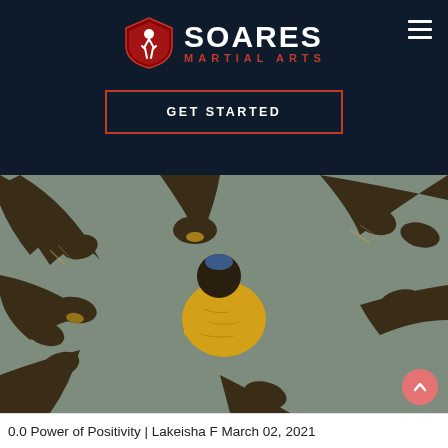[Figure (logo): Soares Martial Arts logo: shield icon with white martial arts figure on red/dark background, text SOARES in white bold and MARTIAL ARTS in red below]
GET STARTED
[Figure (illustration): Illustration of multiple large dark hands reaching in from all directions toward a small crouched yellow figure in the center, on a muted green-gray background]
0.0  Power of Positivity | Lakeisha F  March 02, 2021